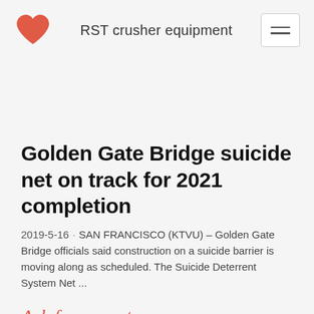RST crusher equipment
Golden Gate Bridge suicide net on track for 2021 completion
2019-5-16 · SAN FRANCISCO (KTVU) – Golden Gate Bridge officials said construction on a suicide barrier is moving along as scheduled. The Suicide Deterrent System Net ...
Ask for a quote